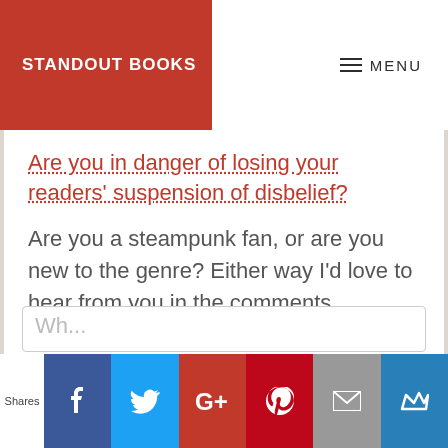STANDOUT BOOKS
≡ MENU
Are you in danger of losing your readers' suspension of disbelief?
Are you a steampunk fan, or are you new to the genre? Either way I'd love to hear from you in the comments.